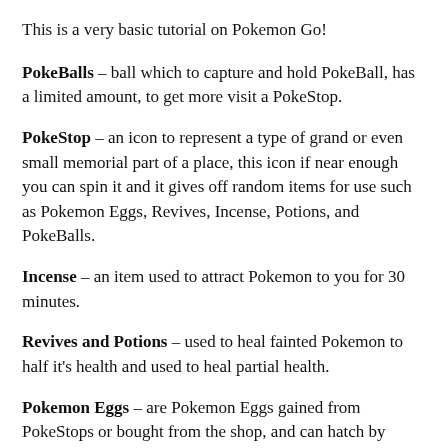This is a very basic tutorial on Pokemon Go!
PokeBalls – ball which to capture and hold PokeBall, has a limited amount, to get more visit a PokeStop.
PokeStop – an icon to represent a type of grand or even small memorial part of a place, this icon if near enough you can spin it and it gives off random items for use such as Pokemon Eggs, Revives, Incense, Potions, and PokeBalls.
Incense – an item used to attract Pokemon to you for 30 minutes.
Revives and Potions – used to heal fainted Pokemon to half it's health and used to heal partial health.
Pokemon Eggs – are Pokemon Eggs gained from PokeStops or bought from the shop, and can hatch by walking a given amount of kilometers. The more kilometers needed to hatch